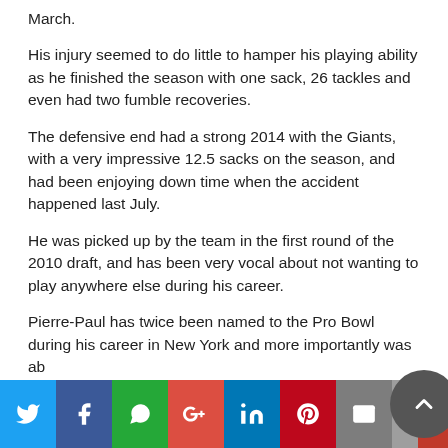March.
His injury seemed to do little to hamper his playing ability as he finished the season with one sack, 26 tackles and even had two fumble recoveries.
The defensive end had a strong 2014 with the Giants, with a very impressive 12.5 sacks on the season, and had been enjoying down time when the accident happened last July.
He was picked up by the team in the first round of the 2010 draft, and has been very vocal about not wanting to play anywhere else during his career.
Pierre-Paul has twice been named to the Pro Bowl during his career in New York and more importantly was ab…